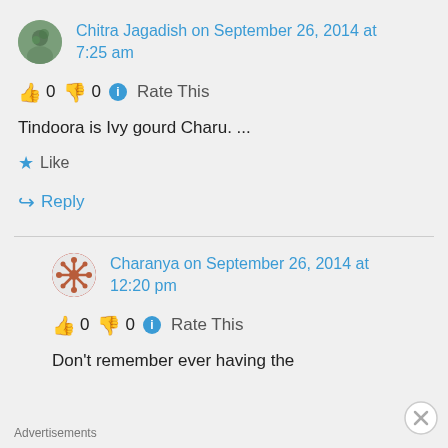Chitra Jagadish on September 26, 2014 at 7:25 am
👍 0 👎 0 ℹ Rate This
Tindoora is Ivy gourd Charu. ...
★ Like
↪ Reply
Charanya on September 26, 2014 at 12:20 pm
👍 0 👎 0 ℹ Rate This
Don't remember ever having the
Advertisements